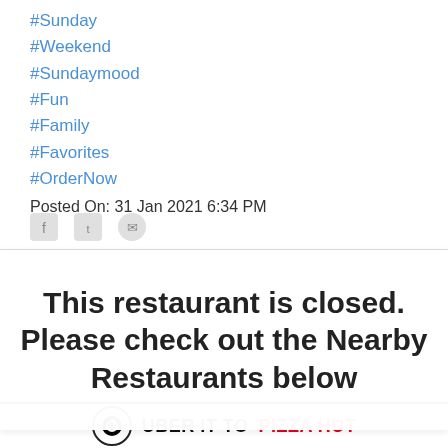#Sunday
#Weekend
#Sundaymood
#Fun
#Family
#Favorites
#OrderNow
Posted On: 31 Jan 2021 6:34 PM
This restaurant is closed. Please check out the Nearby Restaurants below
#OrderNow
#ThatEscalatedQuickly
#UberEaters
UBER IT TO PIZZA HUT